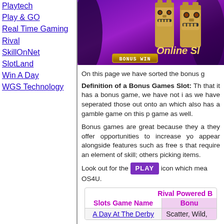Playtech
Play & GO
Real Time Gaming
Rival
SkillOnNet
SlotLand
Win A Day
WGS Technology
[Figure (screenshot): Banner image showing tiki statues on purple background with 'BONUS WIN' text and 'Online Sl...' text]
On this page we have sorted the bonus g...
Definition of a Bonus Games Slot: Th... that it has a bonus game, we have not i... as we have seperated those out onto an... which also has a gamble game on this p... game as well.
Bonus games are great because they a... they offer opportunities to increase yo... appear alongside features such as free s... that require an element of skill; others... picking items.
Look out for the PLAY icon which mea... OS4U.
| Slots Game Name | Bonu... |
| --- | --- |
| A Day At The Derby | Scatter, Wild,... |
Rival Powered B...